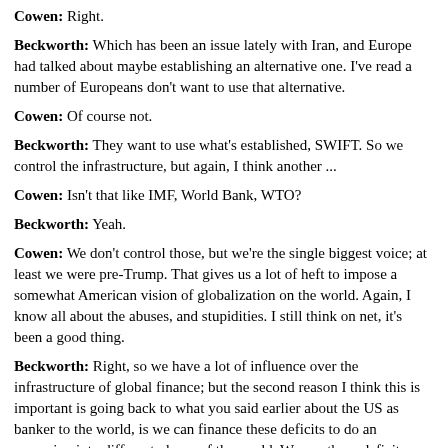Cowen: Right.
Beckworth: Which has been an issue lately with Iran, and Europe had talked about maybe establishing an alternative one. I've read a number of Europeans don't want to use that alternative.
Cowen: Of course not.
Beckworth: They want to use what's established, SWIFT. So we control the infrastructure, but again, I think another ...
Cowen: Isn't that like IMF, World Bank, WTO?
Beckworth: Yeah.
Cowen: We don't control those, but we're the single biggest voice; at least we were pre-Trump. That gives us a lot of heft to impose a somewhat American vision of globalization on the world. Again, I know all about the abuses, and stupidities. I still think on net, it's been a good thing.
Beckworth: Right, so we have a lot of influence over the infrastructure of global finance; but the second reason I think this is important is going back to what you said earlier about the US as banker to the world, is we can finance these deficits to do an excursion into different places of the world. We run these deficits without having huge amounts of interest payments going up. We don't